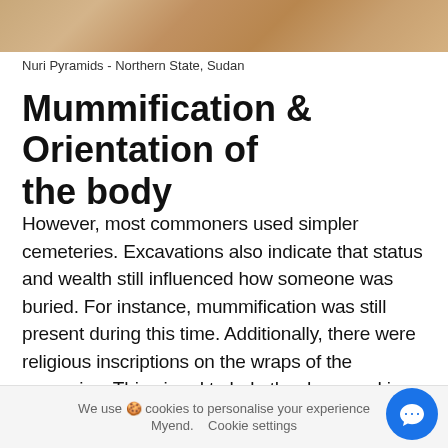[Figure (photo): Sandy/desert texture photo strip at top of page, showing Nuri Pyramids area]
Nuri Pyramids - Northern State, Sudan
Mummification & Orientation of the body
However, most commoners used simpler cemeteries. Excavations also indicate that status and wealth still influenced how someone was buried. For instance, mummification was still present during this time. Additionally, there were religious inscriptions on the wraps of the mummies. This aimed to help the deceased in the afterlife. Most Nubians, though, buried their dead in very simple tombs.
Moreover, the orientation of the corpse within the tomb
We use 🍪 cookies to personalise your experience  Myend.    Cookie settings